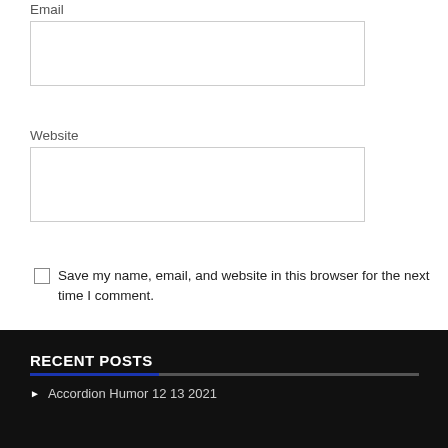Email
Website
Save my name, email, and website in this browser for the next time I comment.
Post Comment
RECENT POSTS
Accordion Humor 12 13 2021